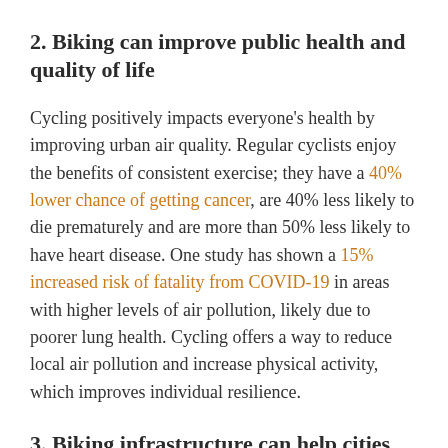2. Biking can improve public health and quality of life
Cycling positively impacts everyone's health by improving urban air quality. Regular cyclists enjoy the benefits of consistent exercise; they have a 40% lower chance of getting cancer, are 40% less likely to die prematurely and are more than 50% less likely to have heart disease. One study has shown a 15% increased risk of fatality from COVID-19 in areas with higher levels of air pollution, likely due to poorer lung health. Cycling offers a way to reduce local air pollution and increase physical activity, which improves individual resilience.
3. Biking infrastructure can help cities become more